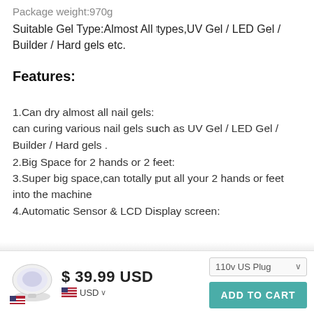Package weight:970g
Suitable Gel Type:Almost All types,UV Gel / LED Gel / Builder / Hard gels etc.
Features:
1.Can dry almost all nail gels:
can curing various nail gels such as UV Gel / LED Gel / Builder / Hard gels .
2.Big Space for 2 hands or 2 feet:
3.Super big space,can totally put all your 2 hands or feet into the machine
4.Automatic Sensor & LCD Display screen:
$ 39.99 USD
USD
110v US Plug
ADD TO CART